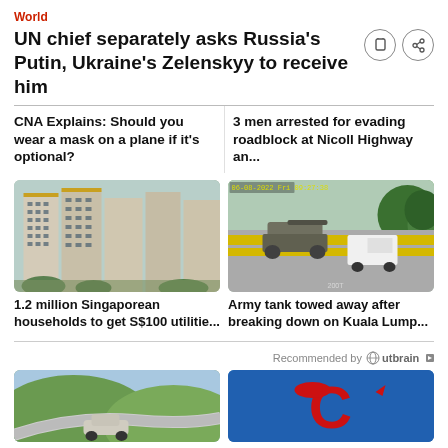World
UN chief separately asks Russia's Putin, Ukraine's Zelenskyy to receive him
CNA Explains: Should you wear a mask on a plane if it's optional?
3 men arrested for evading roadblock at Nicoll Highway an...
[Figure (photo): HDB flats in Singapore]
1.2 million Singaporean households to get S$100 utilitie...
[Figure (photo): Army tank being towed on Kuala Lumpur highway]
Army tank towed away after breaking down on Kuala Lump...
Recommended by Outbrain
[Figure (photo): Car on winding road]
[Figure (logo): Red letter C logo on blue background]